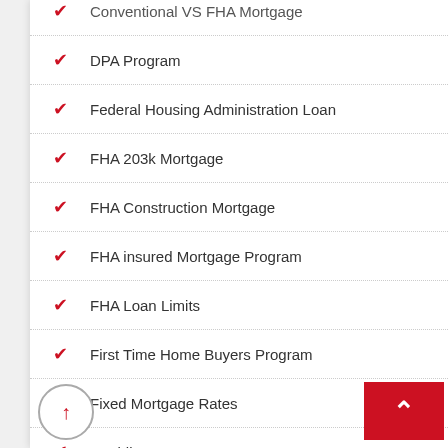Conventional VS FHA Mortgage
DPA Program
Federal Housing Administration Loan
FHA 203k Mortgage
FHA Construction Mortgage
FHA insured Mortgage Program
FHA Loan Limits
First Time Home Buyers Program
Fixed Mortgage Rates
Freddie Mac Loans